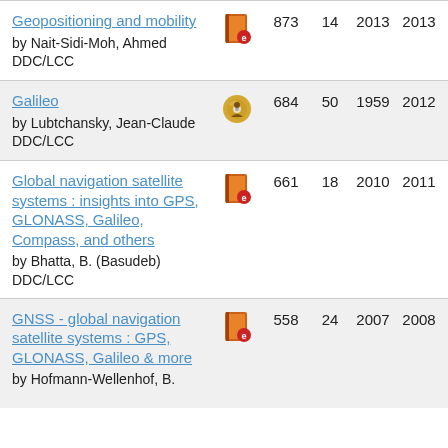| Title/Author | Icon | Num1 | Num2 | Year1 | Year2 |
| --- | --- | --- | --- | --- | --- |
| Geopositioning and mobility
by Nait-Sidi-Moh, Ahmed
DDC/LCC | ebook | 873 | 14 | 2013 | 2013 |
| Galileo
by Lubtchansky, Jean-Claude
DDC/LCC | cd | 684 | 50 | 1959 | 2012 |
| Global navigation satellite systems : insights into GPS, GLONASS, Galileo, Compass, and others
by Bhatta, B. (Basudeb)
DDC/LCC | ebook | 661 | 18 | 2010 | 2011 |
| GNSS - global navigation satellite systems : GPS, GLONASS, Galileo & more
by Hofmann-Wellenhof, B. | ebook | 558 | 24 | 2007 | 2008 |